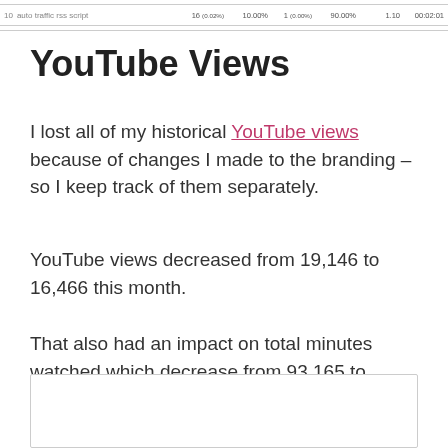[Figure (screenshot): Screenshot of a table row showing: 10, auto traffic rss script, 16 (0.02%), 10.00%, 1 (0.00%), 90.00%, 1.10, 00:02:01]
YouTube Views
I lost all of my historical YouTube views because of changes I made to the branding – so I keep track of them separately.
YouTube views decreased from 19,146 to 16,466 this month.
That also had an impact on total minutes watched which decrease from 93,165 to 79,899 respectively.
[Figure (screenshot): Partial screenshot of a chart or table (bottom portion, mostly white/empty)]